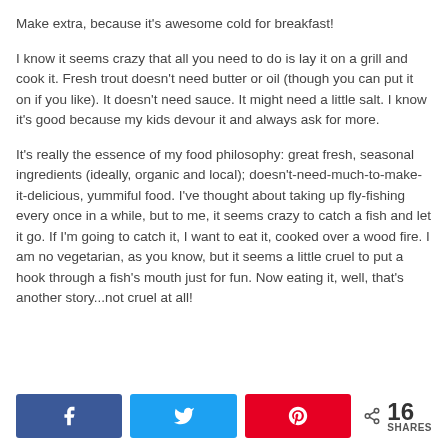Make extra, because it's awesome cold for breakfast!
I know it seems crazy that all you need to do is lay it on a grill and cook it. Fresh trout doesn't need butter or oil (though you can put it on if you like). It doesn't need sauce. It might need a little salt. I know it's good because my kids devour it and always ask for more.
It's really the essence of my food philosophy: great fresh, seasonal ingredients (ideally, organic and local); doesn't-need-much-to-make-it-delicious, yummiful food. I've thought about taking up fly-fishing every once in a while, but to me, it seems crazy to catch a fish and let it go. If I'm going to catch it, I want to eat it, cooked over a wood fire. I am no vegetarian, as you know, but it seems a little cruel to put a hook through a fish's mouth just for fun. Now eating it, well, that's another story...not cruel at all!
[Figure (other): Social share bar with Facebook, Twitter, Pinterest buttons and 16 SHARES count]